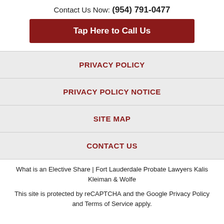Contact Us Now: (954) 791-0477
Tap Here to Call Us
PRIVACY POLICY
PRIVACY POLICY NOTICE
SITE MAP
CONTACT US
What is an Elective Share | Fort Lauderdale Probate Lawyers Kalis Kleiman & Wolfe
This site is protected by reCAPTCHA and the Google Privacy Policy and Terms of Service apply.